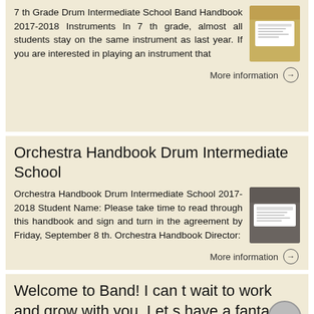7 th Grade Drum Intermediate School Band Handbook 2017-2018 Instruments In 7 th grade, almost all students stay on the same instrument as last year. If you are interested in playing an instrument that
More information →
Orchestra Handbook Drum Intermediate School
Orchestra Handbook Drum Intermediate School 2017-2018 Student Name: Please take time to read through this handbook and sign and turn in the agreement by Friday, September 8 th. Orchestra Handbook Director:
More information →
Welcome to Band! I can t wait to work and grow with you. Let s have a fantastic year!